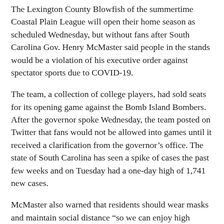The Lexington County Blowfish of the summertime Coastal Plain League will open their home season as scheduled Wednesday, but without fans after South Carolina Gov. Henry McMaster said people in the stands would be a violation of his executive order against spectator sports due to COVID-19.
The team, a collection of college players, had sold seats for its opening game against the Bomb Island Bombers. After the governor spoke Wednesday, the team posted on Twitter that fans would not be allowed into games until it received a clarification from the governor's office. The state of South Carolina has seen a spike of cases the past few weeks and on Tuesday had a one-day high of 1,741 new cases.
McMaster also warned that residents should wear masks and maintain social distance “so we can enjoy high school and college football in South Carolina this fall.”